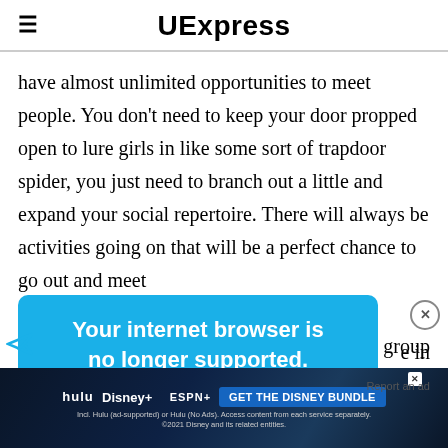UExpress
have almost unlimited opportunities to meet people. You don't need to keep your door propped open to lure girls in like some sort of trapdoor spider, you just need to branch out a little and expand your social repertoire. There will always be activities going on that will be a perfect chance to go out and meet
[Figure (infographic): Browser warning overlay: 'Your internet browser is no longer supported.' on blue background with close button and send icon]
To get the best experience on our site, we re[commend using the] latest [browser]
Report an ad
[Figure (infographic): Advertisement banner for Disney Bundle featuring Hulu, Disney+, ESPN+ logos with 'GET THE DISNEY BUNDLE' CTA button and fine print]